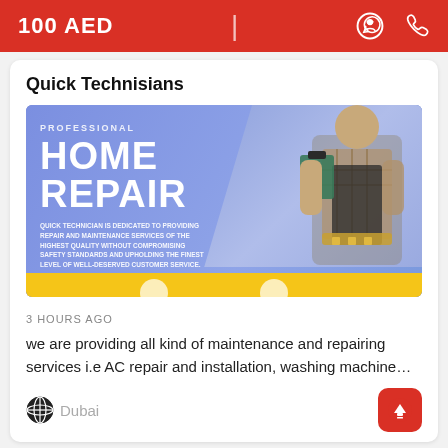100 AED
Quick Technisians
[Figure (infographic): Professional Home Repair banner showing a man in work apron holding a clipboard, with text: PROFESSIONAL HOME REPAIR. QUICK TECHNICIAN IS DEDICATED TO PROVIDING REPAIR AND MAINTENANCE SERVICES OF THE HIGHEST QUALITY WITHOUT COMPROMISING SAFETY STANDARDS AND UPHOLDING THE FINEST LEVEL OF WELL-DESERVED CUSTOMER SERVICE.]
3 HOURS AGO
we are providing all kind of maintenance and repairing services i.e AC repair and installation, washing machine…
Dubai